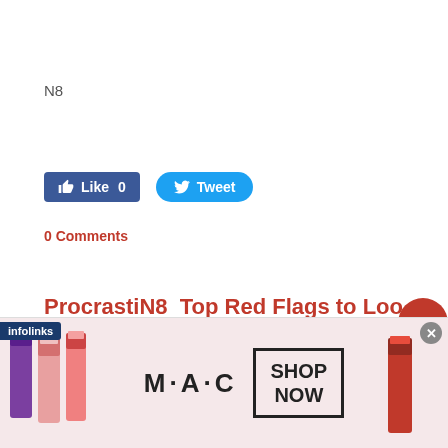N8
[Figure (screenshot): Social sharing buttons: blue Facebook Like button showing '0' likes, and blue Twitter Tweet button]
0 Comments
ProcrastiN8  Top Red Flags to Loo
[Figure (photo): MAC cosmetics advertisement showing lipsticks in pink, purple, red colors, MAC logo, and SHOP NOW button. Infolinks badge and close button visible.]